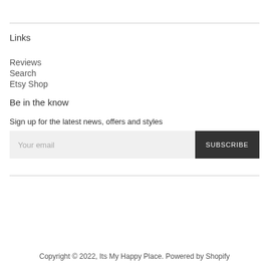Links
Reviews
Search
Etsy Shop
Be in the know
Sign up for the latest news, offers and styles
Your email  SUBSCRIBE
Copyright © 2022, Its My Happy Place. Powered by Shopify